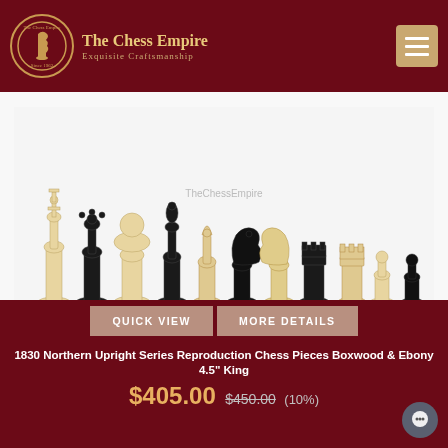[Figure (logo): The Chess Empire logo: circular emblem with chess knight figure, text 'The Chess Empire' and tagline 'Exquisite Craftsmanship', hamburger menu button on right]
[Figure (photo): Chess pieces arranged in a row on white background: alternating light boxwood and dark ebony pieces including king, queen, bishop, knight, rook, and pawn in various sizes]
QUICK VIEW
MORE DETAILS
1830 Northern Upright Series Reproduction Chess Pieces Boxwood & Ebony 4.5" King
$405.00 $450.00 (10%)